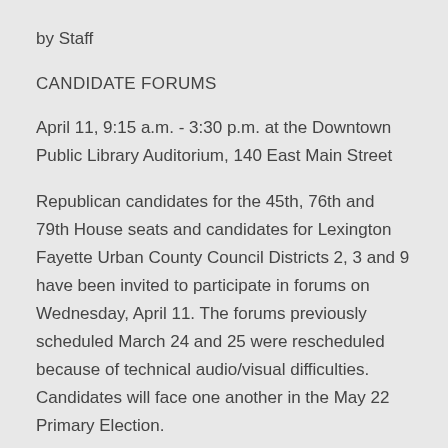by Staff
CANDIDATE FORUMS
April 11, 9:15 a.m. - 3:30 p.m. at the Downtown Public Library Auditorium, 140 East Main Street
Republican candidates for the 45th, 76th and 79th House seats and candidates for Lexington Fayette Urban County Council Districts 2, 3 and 9 have been invited to participate in forums on Wednesday, April 11. The forums previously scheduled March 24 and 25 were rescheduled because of technical audio/visual difficulties. Candidates will face one another in the May 22 Primary Election.